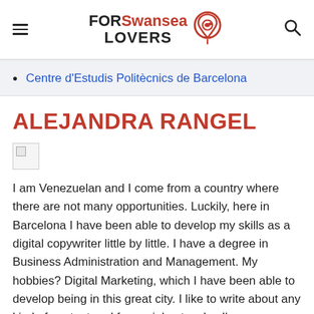FORSwansea LOVERS
Centre d'Estudis Politècnics de Barcelona
ALEJANDRA RANGEL
[Figure (photo): Broken image placeholder for Alejandra Rangel profile photo]
I am Venezuelan and I come from a country where there are not many opportunities. Luckily, here in Barcelona I have been able to develop my skills as a digital copywriter little by little. I have a degree in Business Administration and Management. My hobbies? Digital Marketing, which I have been able to develop being in this great city. I like to write about any kind of content and for social networks. I'm